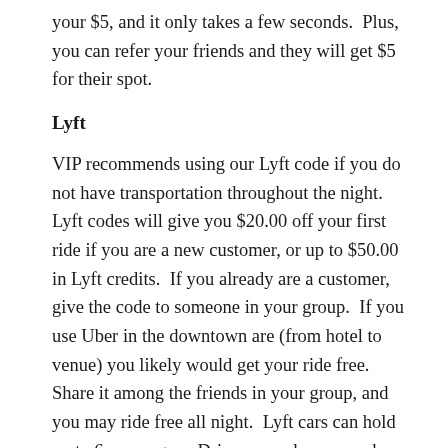your $5, and it only takes a few seconds.  Plus, you can refer your friends and they will get $5 for their spot.
Lyft
VIP recommends using our Lyft code if you do not have transportation throughout the night.  Lyft codes will give you $20.00 off your first ride if you are a new customer, or up to $50.00 in Lyft credits.  If you already are a customer, give the code to someone in your group.  If you use Uber in the downtown are (from hotel to venue) you likely would get your ride free.  Share it among the friends in your group, and you may ride free all night.  Lyft cars can hold up to 6 passengers. Drivers are always nearby so you will be picked